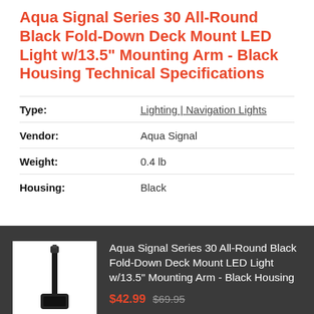Aqua Signal Series 30 All-Round Black Fold-Down Deck Mount LED Light w/13.5" Mounting Arm - Black Housing Technical Specifications
| Attribute | Value |
| --- | --- |
| Type: | Lighting | Navigation Lights |
| Vendor: | Aqua Signal |
| Weight: | 0.4 lb |
| Housing: | Black |
[Figure (photo): Product photo of Aqua Signal Series 30 All-Round Black Fold-Down Deck Mount LED Light with 13.5 inch mounting arm, shown on white background]
Aqua Signal Series 30 All-Round Black Fold-Down Deck Mount LED Light w/13.5" Mounting Arm - Black Housing
$42.99  $69.95
SOLD OUT